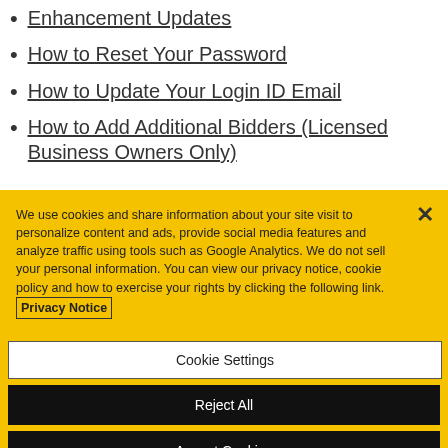Enhancement Updates
How to Reset Your Password
How to Update Your Login ID Email
How to Add Additional Bidders (Licensed Business Owners Only)
We use cookies and share information about your site visit to personalize content and ads, provide social media features and analyze traffic using tools such as Google Analytics. We do not sell your personal information. You can view our privacy notice, cookie policy and how to exercise your rights by clicking the following link. Privacy Notice
Cookie Settings
Reject All
Accept Cookies